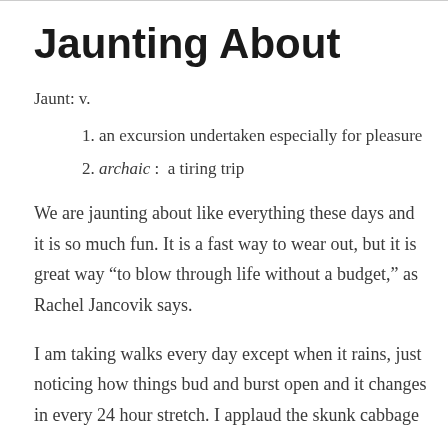Jaunting About
Jaunt: v.
1. an excursion undertaken especially for pleasure
2. archaic :  a tiring trip
We are jaunting about like everything these days and it is so much fun. It is a fast way to wear out, but it is great way “to blow through life without a budget,” as Rachel Jancovik says.
I am taking walks every day except when it rains, just noticing how things bud and burst open and it changes in every 24 hour stretch. I applaud the skunk cabbage